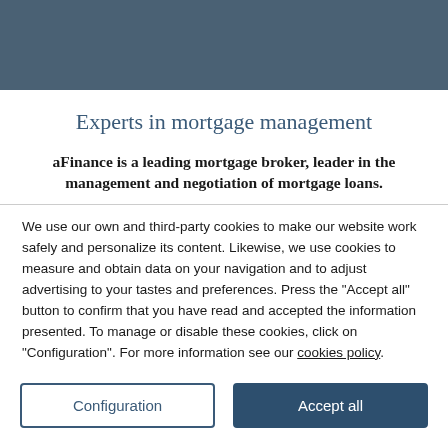[Figure (other): Dark blue-grey header bar background]
Experts in mortgage management
aFinance is a leading mortgage broker, leader in the management and negotiation of mortgage loans.
We use our own and third-party cookies to make our website work safely and personalize its content. Likewise, we use cookies to measure and obtain data on your navigation and to adjust advertising to your tastes and preferences. Press the "Accept all" button to confirm that you have read and accepted the information presented. To manage or disable these cookies, click on "Configuration". For more information see our cookies policy.